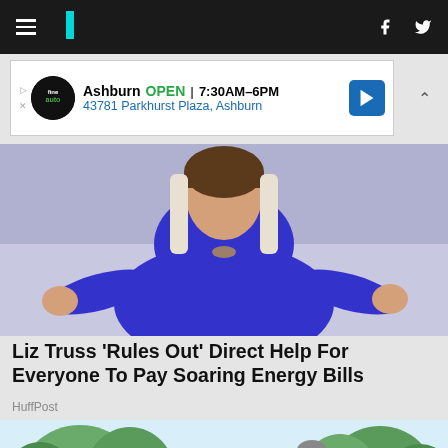HuffPost navigation bar with hamburger menu, logo, Facebook and Twitter icons
[Figure (advertisement): Ad banner: Ashburn OPEN 7:30AM-6PM, 43781 Parkhurst Plaza, Ashburn]
[Figure (photo): Woman in blue blouse with hands outstretched in a shrug gesture, seated in front of light background]
Liz Truss 'Rules Out' Direct Help For Everyone To Pay Soaring Energy Bills
HuffPost
[Figure (illustration): Illustration of two people in orange life vests on paddleboards on a lake with trees in background, with a dog between them]